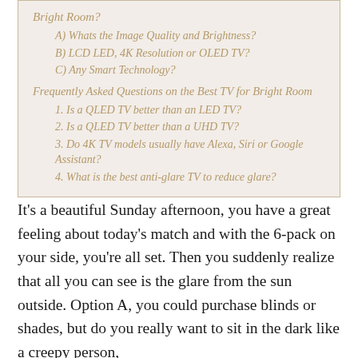Bright Room?
A) Whats the Image Quality and Brightness?
B) LCD LED, 4K Resolution or OLED TV?
C) Any Smart Technology?
Frequently Asked Questions on the Best TV for Bright Room
1. Is a QLED TV better than an LED TV?
2. Is a QLED TV better than a UHD TV?
3. Do 4K TV models usually have Alexa, Siri or Google Assistant?
4. What is the best anti-glare TV to reduce glare?
It's a beautiful Sunday afternoon, you have a great feeling about today's match and with the 6-pack on your side, you're all set. Then you suddenly realize that all you can see is the glare from the sun outside. Option A, you could purchase blinds or shades, but do you really want to sit in the dark like a creepy person,